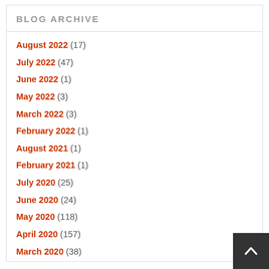BLOG ARCHIVE
August 2022 (17)
July 2022 (47)
June 2022 (1)
May 2022 (3)
March 2022 (3)
February 2022 (1)
August 2021 (1)
February 2021 (1)
July 2020 (25)
June 2020 (24)
May 2020 (118)
April 2020 (157)
March 2020 (38)